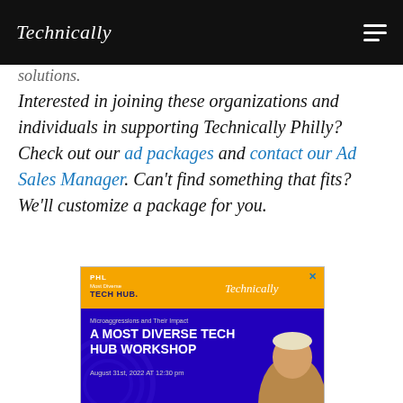Technically
solutions.
Interested in joining these organizations and individuals in supporting Technically Philly? Check out our ad packages and contact our Ad Sales Manager. Can't find something that fits? We'll customize a package for you.
[Figure (advertisement): Advertisement banner for 'A Most Diverse Tech Hub Workshop' about Microaggressions and Their Impact, August 31st, 2022 AT 12:30 pm, co-presented by PHL Most Diverse Tech Hub and Technically]